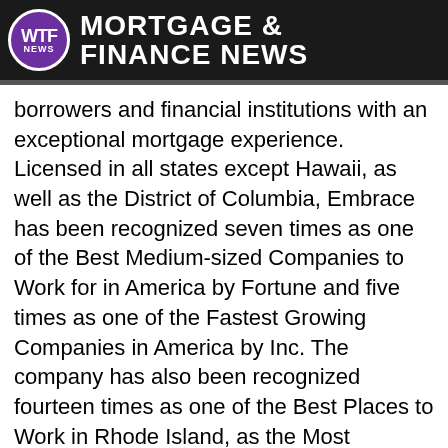WTF NEWS MORTGAGE & FINANCE NEWS
borrowers and financial institutions with an exceptional mortgage experience. Licensed in all states except Hawaii, as well as the District of Columbia, Embrace has been recognized seven times as one of the Best Medium-sized Companies to Work for in America by Fortune and five times as one of the Fastest Growing Companies in America by Inc. The company has also been recognized fourteen times as one of the Best Places to Work in Rhode Island, as the Most Community Involved Company in Rhode Island, and with the Leadership Excellence Award by Providence Business News. The company is based in Middletown, Rhode Island. For more information, please